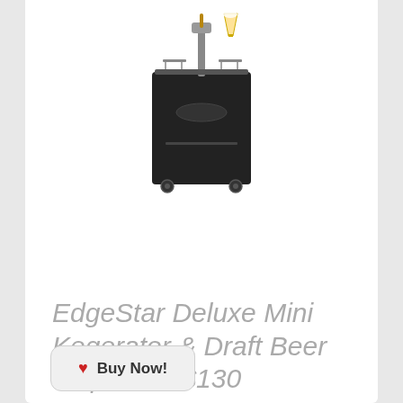[Figure (photo): A black EdgeStar Deluxe Mini Kegerator and Draft Beer Dispenser on wheels, with a tap on top and a beer glass, shown on a white background.]
EdgeStar Deluxe Mini Kegerator & Draft Beer Dispenser $130
Buy Now!